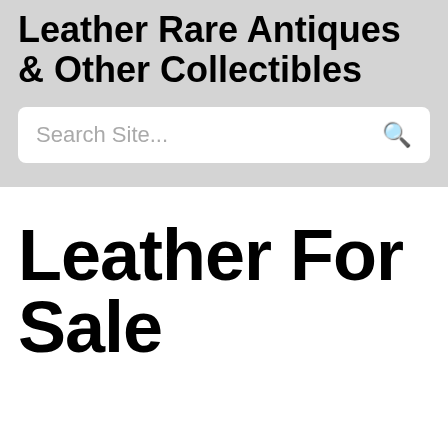Leather Rare Antiques & Other Collectibles
Leather For Sale